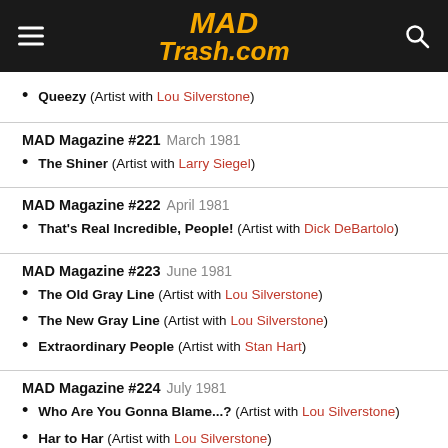MAD Trash.com
Queezy (Artist with Lou Silverstone)
MAD Magazine #221 March 1981
The Shiner (Artist with Larry Siegel)
MAD Magazine #222 April 1981
That's Real Incredible, People! (Artist with Dick DeBartolo)
MAD Magazine #223 June 1981
The Old Gray Line (Artist with Lou Silverstone)
The New Gray Line (Artist with Lou Silverstone)
Extraordinary People (Artist with Stan Hart)
MAD Magazine #224 July 1981
Who Are You Gonna Blame...? (Artist with Lou Silverstone)
Har to Har (Artist with Lou Silverstone)
MAD Magazine #225 July 1981